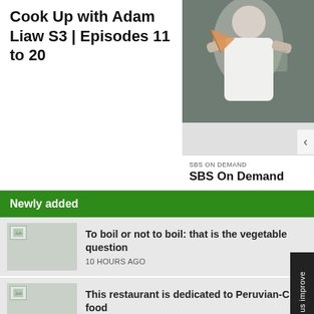Cook Up with Adam Liaw S3 | Episodes 11 to 20
[Figure (photo): Man in white shirt holding pizza slice, SBS On Demand promotional image]
SBS ON DEMAND
SBS On Demand
Newly added
To boil or not to boil: that is the vegetable question
10 HOURS AGO
This restaurant is dedicated to Peruvian-Chin food
11 HOURS AGO
A Girl's Guide to Hunting, Fishing and Wild Cooking
11 HOURS AGO
Help us improve